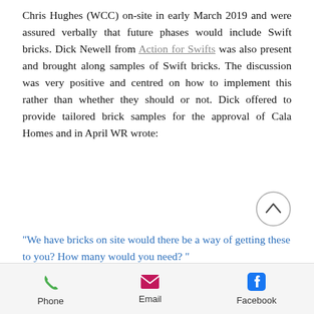Chris Hughes (WCC) on-site in early March 2019 and were assured verbally that future phases would include Swift bricks. Dick Newell from Action for Swifts was also present and brought along samples of Swift bricks. The discussion was very positive and centred on how to implement this rather than whether they should or not. Dick offered to provide tailored brick samples for the approval of Cala Homes and in April WR wrote:
“We have bricks on site would there be a way of getting these to you? How many would you need? ”
[Figure (other): Back-to-top navigation button: circle with upward chevron arrow]
Phone   Email   Facebook